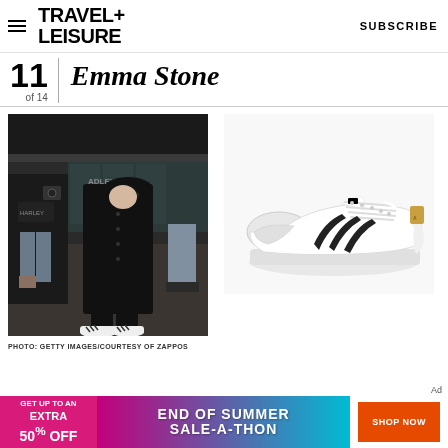TRAVEL+ LEISURE  SUBSCRIBE
11 of 14  Emma Stone
[Figure (photo): Emma Stone walking through an airport wearing all black outfit including long coat, black cap and sunglasses, with white Adidas sneakers. Paparazzi photographer visible behind her.]
[Figure (photo): White Adidas Superstar sneakers with black stripes and gold logo on heel tab, shown from a side angle on white background.]
PHOTO: GETTY IMAGES/COURTESY OF ZAPPOS
[Figure (infographic): End of Summer Sale-A-Thon banner advertisement. Pink to teal gradient background. Left section in pink: GET UP TO AN EXTRA 50% OFF. Center: END OF SUMMER SALE-A-THON in white bold text. Right: SHOP NOW button in orange.]